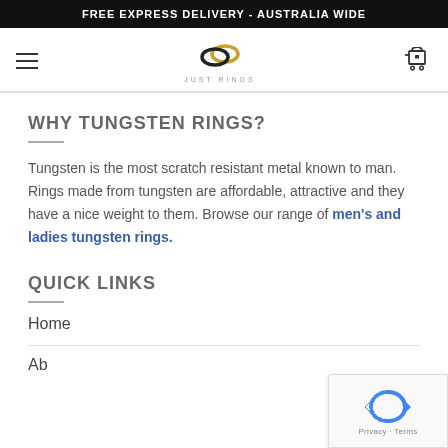FREE EXPRESS DELIVERY - AUSTRALIA WIDE
[Figure (logo): Just Rings logo with interlocking rings icon and text 'JUST RINGS']
WHY TUNGSTEN RINGS?
Tungsten is the most scratch resistant metal known to man. Rings made from tungsten are affordable, attractive and they have a nice weight to them. Browse our range of men's and ladies tungsten rings.
QUICK LINKS
Home